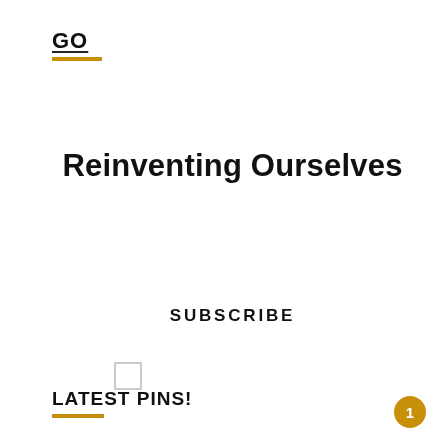GO
Reinventing Ourselves
SUBSCRIBE
[Figure (other): Empty checkbox element]
LATEST PINS!